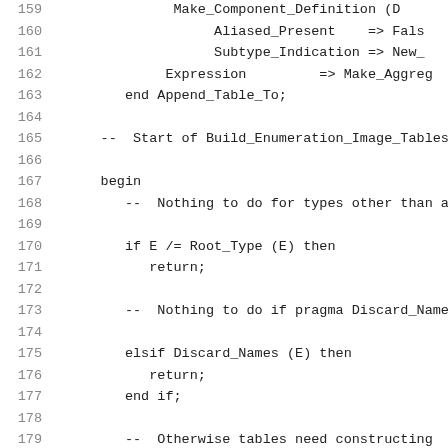Code listing lines 159-180: Ada source code for Build_Enumeration_Image_Tables procedure